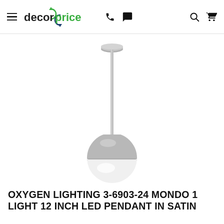decorprice
[Figure (photo): A pendant light fixture with a brushed nickel/satin finish. The light has a globe-shaped head with the bottom half made of white frosted glass and the top half in brushed silver/nickel metal. A thin metal rod extends up from the globe to a round ceiling canopy at the top.]
OXYGEN LIGHTING 3-6903-24 MONDO 1 LIGHT 12 INCH LED PENDANT IN SATIN